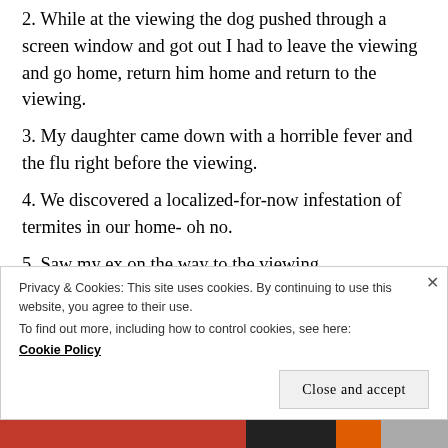2. While at the viewing the dog pushed through a screen window and got out I had to leave the viewing and go home, return him home and return to the viewing.
3. My daughter came down with a horrible fever and the flu right before the viewing.
4. We discovered a localized-for-now infestation of termites in our home- oh no.
5. Saw my ex on the way to the viewing.
Privacy & Cookies: This site uses cookies. By continuing to use this website, you agree to their use. To find out more, including how to control cookies, see here: Cookie Policy